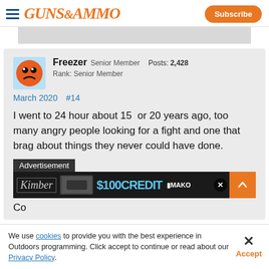Guns&Ammo | Subscribe
[Figure (screenshot): Gray placeholder bar at top of content area]
Freezer Senior Member  Posts: 2,428
Rank: Senior Member
March 2020   #14
I went to 24 hour about 15  or 20 years ago, too many angry people looking for a fight and one that brag about things they never could have done.
Advertisement
[Figure (screenshot): Ad banner: Kimber $100 CREDIT MAKO]
Co
We use cookies to provide you with the best experience in Outdoors programming. Click accept to continue or read about our Privacy Policy.